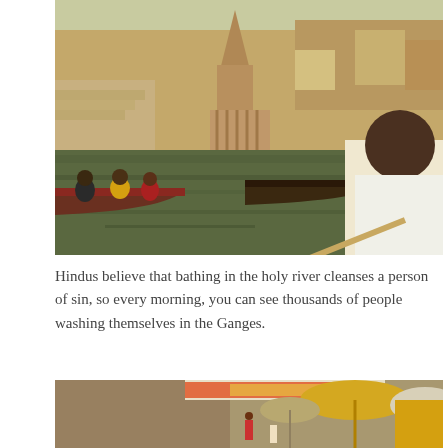[Figure (photo): Photo of the Ganges river ghats at Varanasi showing wooden boats on the river with people seated in them, ancient stone steps and a temple tower (shikhara) visible in the background, with a man close-up on the right side of the frame.]
Hindus believe that bathing in the holy river cleanses a person of sin, so every morning, you can see thousands of people washing themselves in the Ganges.
[Figure (photo): Photo of a busy ghat scene with large decorative umbrellas/parasols in yellow and cream colors, signage in Hindi visible in the upper portion, and people gathered on the stone steps.]